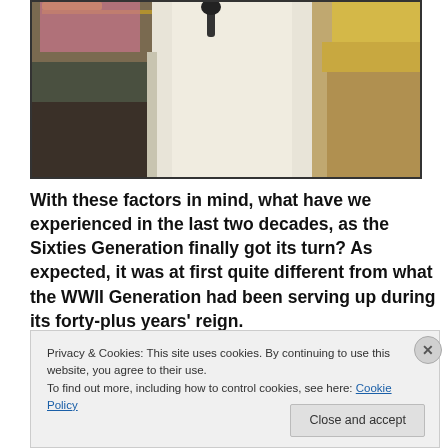[Figure (photo): Photograph showing people in traditional Middle Eastern dress (thobes and headdress), cropped at top]
With these factors in mind, what have we experienced in the last two decades, as the Sixties Generation finally got its turn? As expected, it was at first quite different from what the WWII Generation had been serving up during its forty-plus years' reign.
The Nineties
Privacy & Cookies: This site uses cookies. By continuing to use this website, you agree to their use.
To find out more, including how to control cookies, see here: Cookie Policy